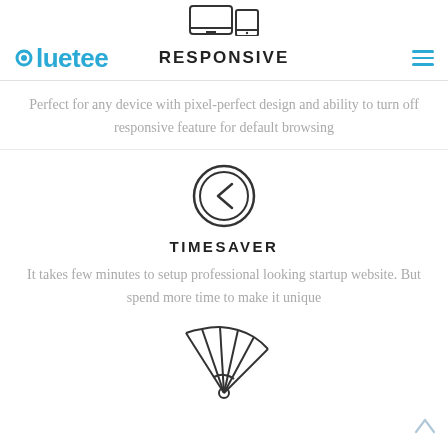[Figure (illustration): Partial device icon (monitor/tablet) at top]
bluetee   RESPONSIVE
Perfect for any device with pixel-perfect design and ability to turn off responsive feature for default browsing
[Figure (illustration): Clock icon with left-pointing chevron hand]
TIMESAVER
It takes few minutes to setup professional looking startup website. But spend more time to make it unique
[Figure (illustration): Partial fan/palette icon at bottom]